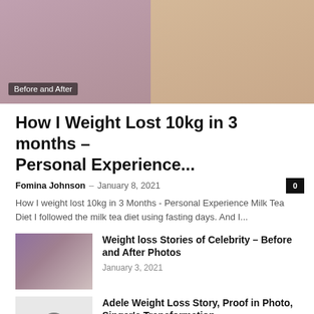[Figure (photo): Before and after weight loss photos side by side. Left shows a woman in a floral blouse, right shows a woman in a dark blazer. A 'Before and After' label overlays the bottom-left of the image.]
How I Weight Lost 10kg in 3 months – Personal Experience...
Fomina Johnson  –  January 8, 2021
How I weight lost 10kg in 3 Months - Personal Experience Milk Tea Diet I followed the milk tea diet using fasting days. And I...
[Figure (photo): Thumbnail showing celebrity weight loss before and after photos.]
Weight loss Stories of Celebrity – Before and After Photos
January 3, 2021
[Figure (other): Video thumbnail placeholder with play button icon.]
Adele Weight Loss Story, Proof in Photo, Singer's Transformation
July 29, 2020
Coach Adonis Hill Weight Gain +70lb to